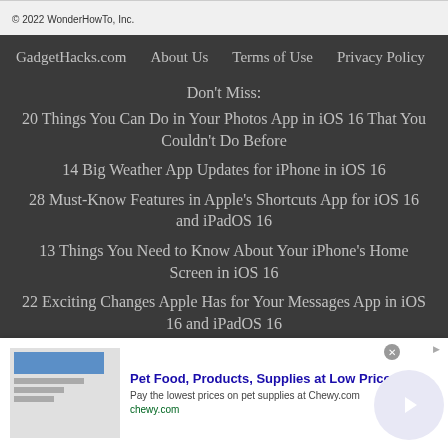© 2022 WonderHowTo, Inc.
GadgetHacks.com   About Us   Terms of Use   Privacy Policy
Don't Miss:
20 Things You Can Do in Your Photos App in iOS 16 That You Couldn't Do Before
14 Big Weather App Updates for iPhone in iOS 16
28 Must-Know Features in Apple's Shortcuts App for iOS 16 and iPadOS 16
13 Things You Need to Know About Your iPhone's Home Screen in iOS 16
22 Exciting Changes Apple Has for Your Messages App in iOS 16 and iPadOS 16
[Figure (other): Advertisement banner for Chewy.com: Pet Food, Products, Supplies at Low Prices - Pay the lowest prices on pet supplies at Chewy.com]